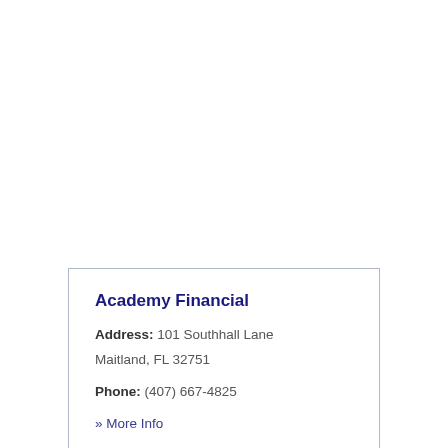Academy Financial
Address: 101 Southhall Lane Maitland, FL 32751
Phone: (407) 667-4825
» More Info